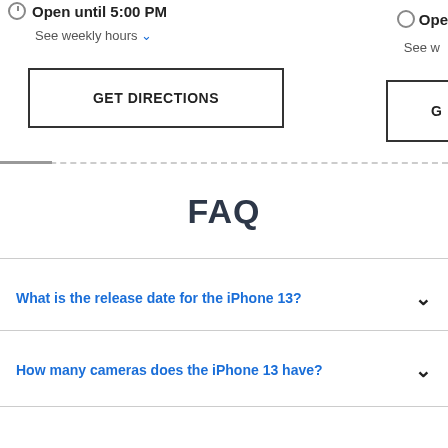Open until 5:00 PM
See weekly hours
GET DIRECTIONS
FAQ
What is the release date for the iPhone 13?
How many cameras does the iPhone 13 have?